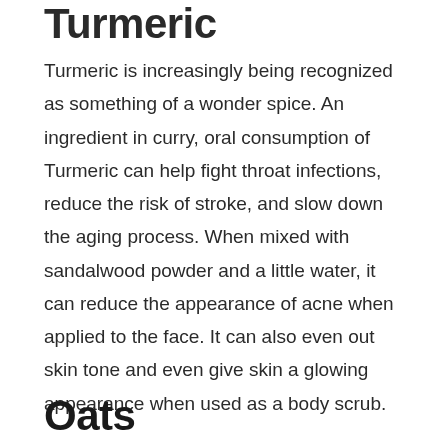Turmeric
Turmeric is increasingly being recognized as something of a wonder spice. An ingredient in curry, oral consumption of Turmeric can help fight throat infections, reduce the risk of stroke, and slow down the aging process. When mixed with sandalwood powder and a little water, it can reduce the appearance of acne when applied to the face. It can also even out skin tone and even give skin a glowing appearance when used as a body scrub.
Oats